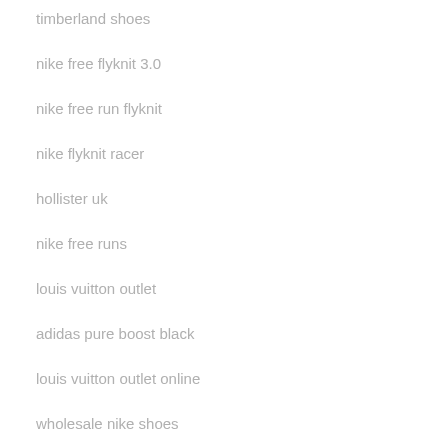timberland shoes
nike free flyknit 3.0
nike free run flyknit
nike flyknit racer
hollister uk
nike free runs
louis vuitton outlet
adidas pure boost black
louis vuitton outlet online
wholesale nike shoes
ray ban outlet store online
coach factory outlet online